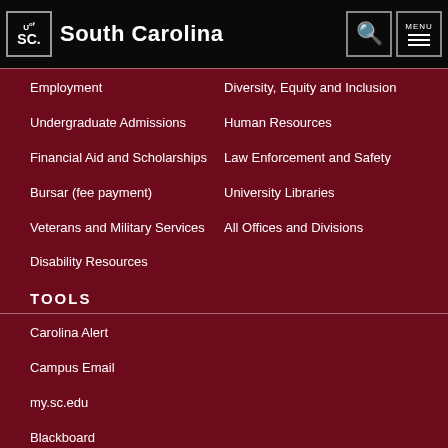University of South Carolina
Employment
Diversity, Equity and Inclusion
Undergraduate Admissions
Human Resources
Financial Aid and Scholarships
Law Enforcement and Safety
Bursar (fee payment)
University Libraries
Veterans and Military Services
All Offices and Divisions
Disability Resources
TOOLS
Carolina Alert
Campus Email
my.sc.edu
Blackboard
Campus Safety and Wellness
PeopleSoft Finance